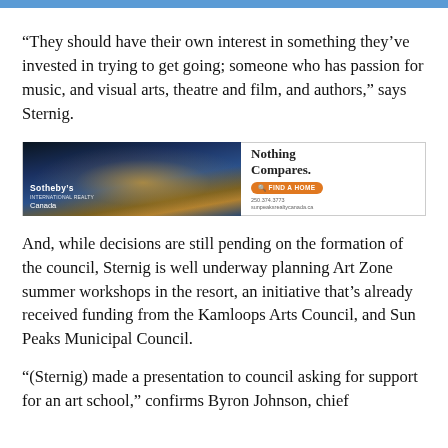“They should have their own interest in something they’ve invested in trying to get going; someone who has passion for music, and visual arts, theatre and film, and authors,” says Sternig.
[Figure (photo): Sotheby’s International Realty Canada advertisement banner showing an aerial night view of a ski resort village lit up, with text ‘Nothing Compares.’ and an orange ‘FIND A HOME’ button.]
And, while decisions are still pending on the formation of the council, Sternig is well underway planning Art Zone summer workshops in the resort, an initiative that’s already received funding from the Kamloops Arts Council, and Sun Peaks Municipal Council.
“(Sternig) made a presentation to council asking for support for an art school,” confirms Byron Johnson, chief